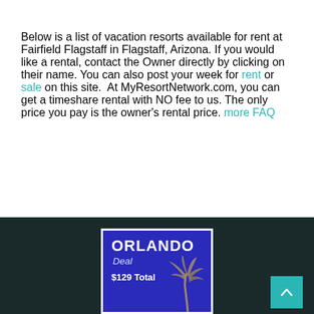Below is a list of vacation resorts available for rent at Fairfield Flagstaff in Flagstaff, Arizona. If you would like a rental, contact the Owner directly by clicking on their name. You can also post your week for rent or sale on this site.  At MyResortNetwork.com, you can get a timeshare rental with NO fee to us. The only price you pay is the owner's rental price. more FAQ
[Figure (illustration): Dark footer section with an Orlando deal advertisement box in blue with white border, showing 'ORLANDO Deal $129 Total' text and a palm tree graphic. A teal scroll-to-top button with an upward chevron is in the bottom right corner.]